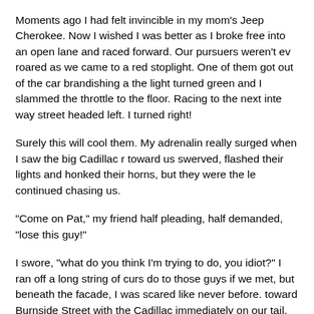Moments ago I had felt invincible in my mom's Jeep Cherokee. Now I wished I was better as I broke free into an open lane and raced forward. Our pursuers weren't ev roared as we came to a red stoplight. One of them got out of the car brandishing a the light turned green and I slammed the throttle to the floor. Racing to the next inte way street headed left. I turned right!
Surely this will cool them. My adrenalin really surged when I saw the big Cadillac r toward us swerved, flashed their lights and honked their horns, but they were the le continued chasing us.
“Come on Pat,” my friend half pleading, half demanded, “lose this guy!”
I swore, “what do you think I’m trying to do, you idiot?” I ran off a long string of curs do to those guys if we met, but beneath the facade, I was scared like never before. toward Burnside Street with the Cadillac immediately on our tail. The speedometer then hit eighty as we swerved and careened through the streets of Downtown Portl intersection, I thought I’d fake a left turn and go for a right. When I swerved to the l Cadillac didn’t do anything but barrel on ahead, connecting with my right, rear pass the car 90 degrees to the right. I hit the throttle again now running for my life. Our c First Street where our chase had begun. When we got to First Street we headed so we approached Madison Street the river was on our left. The light was red and traffi Portland from the Hawthorne Bridge. Without hesitation I plunged into the traffic...